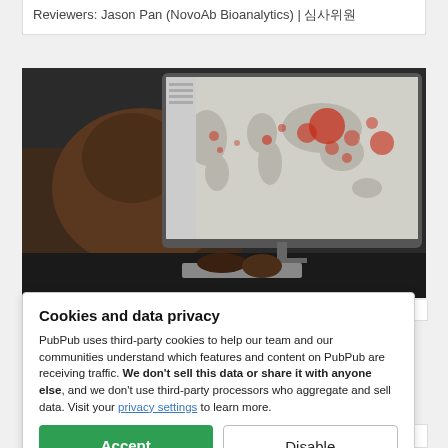Reviewers: Jason Pan (NovoAb Bioanalytics) | 심사위원
[Figure (photo): Person viewed from behind sitting at a desk, looking at an iMac computer screen showing a world map with red bubble markers indicating COVID-19 or disease data by geographic location.]
Cookies and data privacy
PubPub uses third-party cookies to help our team and our communities understand which features and content on PubPub are receiving traffic. We don't sell this data or share it with anyone else, and we don't use third-party processors who aggregate and sell data. Visit your privacy settings to learn more.
Accept
Disable
Published: Nov 03, 2020